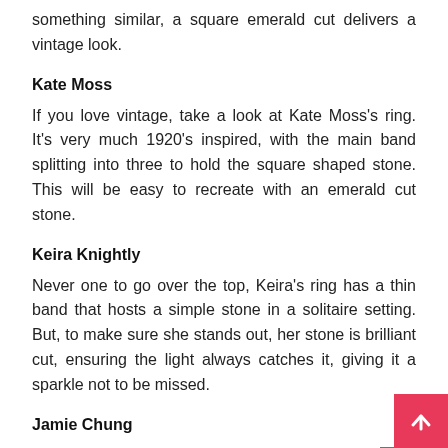something similar, a square emerald cut delivers a vintage look.
Kate Moss
If you love vintage, take a look at Kate Moss's ring. It's very much 1920's inspired, with the main band splitting into three to hold the square shaped stone. This will be easy to recreate with an emerald cut stone.
Keira Knightly
Never one to go over the top, Keira's ring has a thin band that hosts a simple stone in a solitaire setting. But, to make sure she stands out, her stone is brilliant cut, ensuring the light always catches it, giving it a sparkle not to be missed.
Jamie Chung
It might be a ring that cost a fortune, but the look is of